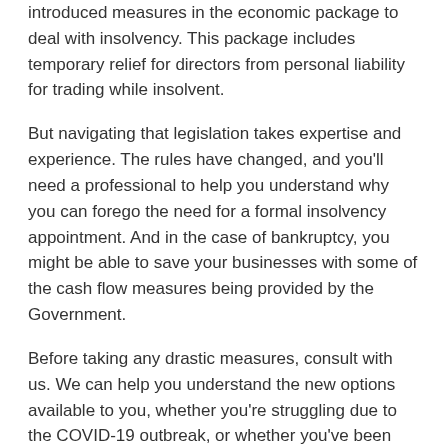introduced measures in the economic package to deal with insolvency. This package includes temporary relief for directors from personal liability for trading while insolvent.
But navigating that legislation takes expertise and experience. The rules have changed, and you'll need a professional to help you understand why you can forego the need for a formal insolvency appointment. And in the case of bankruptcy, you might be able to save your businesses with some of the cash flow measures being provided by the Government.
Before taking any drastic measures, consult with us. We can help you understand the new options available to you, whether you're struggling due to the COVID-19 outbreak, or whether you've been struggling for some time now, these relief efforts are available to businesses of all sizes – all you need to know is how to qualify. Contact us to keep your business up and running during these uncertain times.